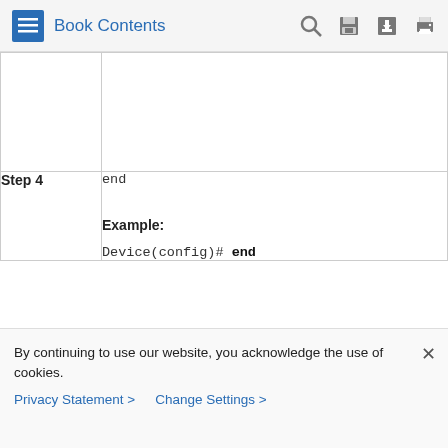Book Contents
| Step | Command |
| --- | --- |
|  |  |
| Step 4 | end

Example:

Device(config)# end |
By continuing to use our website, you acknowledge the use of cookies.
Privacy Statement > Change Settings >